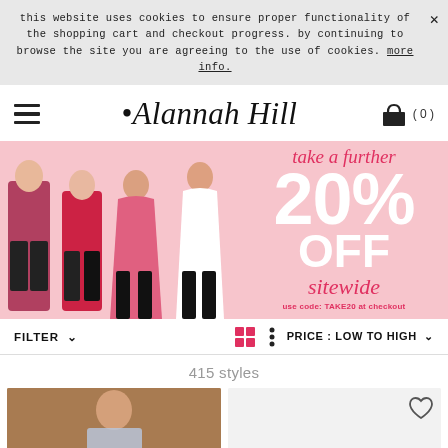this website uses cookies to ensure proper functionality of the shopping cart and checkout progress. by continuing to browse the site you are agreeing to the use of cookies. more info.
[Figure (logo): Alannah Hill script logo with hamburger menu and cart icon (0)]
[Figure (infographic): Promotional banner with fashion figures on pink background: 'take a further 20% OFF sitewide use code: TAKE20 at checkout']
FILTER ∨  PRICE : LOW TO HIGH ∨
415 styles
[Figure (photo): Fashion product photo - woman with red hair in ornate setting wearing blue floral dress]
[Figure (photo): Fashion product photo - light background with heart/wishlist icon]